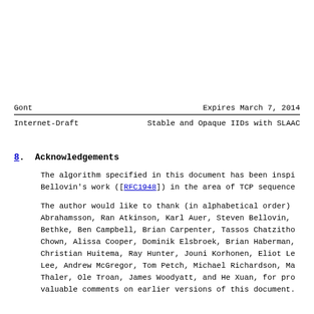Gont                          Expires March 7, 2014
Internet-Draft       Stable and Opaque IIDs with SLAAC
8.  Acknowledgements
The algorithm specified in this document has been inspired by Bellovin's work ([RFC1948]) in the area of TCP sequence
The author would like to thank (in alphabetical order) Abrahamsson, Ran Atkinson, Karl Auer, Steven Bellovin, Bethke, Ben Campbell, Brian Carpenter, Tassos Chatzitho Chown, Alissa Cooper, Dominik Elsbroek, Brian Haberman, Christian Huitema, Ray Hunter, Jouni Korhonen, Eliot Le Lee, Andrew McGregor, Tom Petch, Michael Richardson, Ma Thaler, Ole Troan, James Woodyatt, and He Xuan, for pro valuable comments on earlier versions of this document.